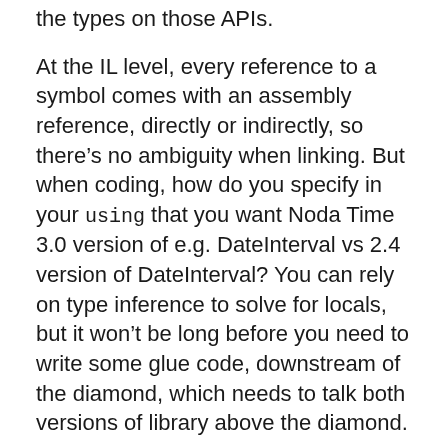the types on those APIs.
At the IL level, every reference to a symbol comes with an assembly reference, directly or indirectly, so there’s no ambiguity when linking. But when coding, how do you specify in your using that you want Noda Time 3.0 version of e.g. DateInterval vs 2.4 version of DateInterval? You can rely on type inference to solve for locals, but it won’t be long before you need to write some glue code, downstream of the diamond, which needs to talk both versions of library above the diamond.
Jar shading solves the problem by prefixing the namespace of the duplicated dependency with the thing that includes it.
I don’t think there’s a better 100% automated way to solve the problem. The alternative is to create a